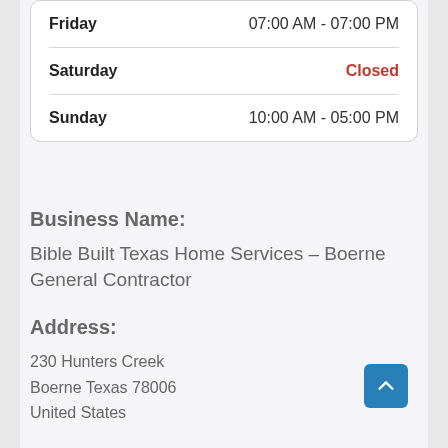| Day | Hours |
| --- | --- |
| Friday | 07:00 AM - 07:00 PM |
| Saturday | Closed |
| Sunday | 10:00 AM - 05:00 PM |
Business Name:
Bible Built Texas Home Services – Boerne General Contractor
Address:
230 Hunters Creek
Boerne Texas 78006
United States